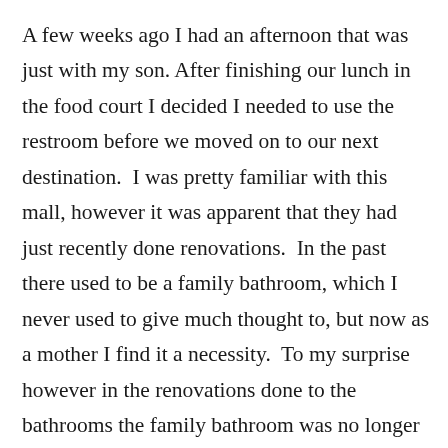A few weeks ago I had an afternoon that was just with my son. After finishing our lunch in the food court I decided I needed to use the restroom before we moved on to our next destination.  I was pretty familiar with this mall, however it was apparent that they had just recently done renovations.  In the past there used to be a family bathroom, which I never used to give much thought to, but now as a mother I find it a necessity.  To my surprise however in the renovations done to the bathrooms the family bathroom was no longer there.  I had a fleeting moment of, “What’s too old to bring your son in the woman’s bathroom?” but quickly pushed it out as I was completely uncomfortable with the thought of Liam waiting outside the bathroom for me.  This mall